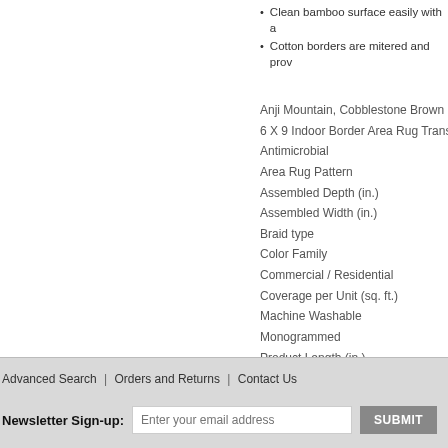Clean bamboo surface easily with a
Cotton borders are mitered and prov
Anji Mountain, Cobblestone Brown 6 ft.
6 X 9 Indoor Border Area Rug Transitio
Antimicrobial
Area Rug Pattern
Assembled Depth (in.)
Assembled Width (in.)
Braid type
Color Family
Commercial / Residential
Coverage per Unit (sq. ft.)
Machine Washable
Monogrammed
Product Length (in.)
Product Width (in.)
Rug Material
Unit
Advanced Search | Orders and Returns | Contact Us
Newsletter Sign-up: Enter your email address SUBMIT